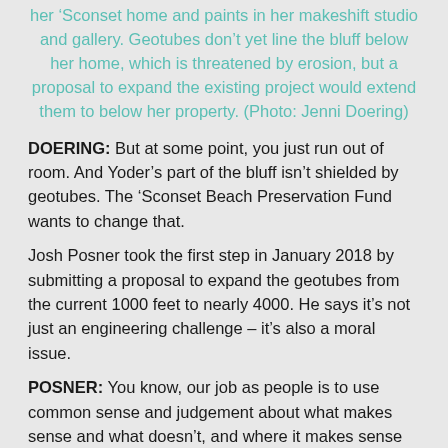her ‘Sconset home and paints in her makeshift studio and gallery. Geotubes don’t yet line the bluff below her home, which is threatened by erosion, but a proposal to expand the existing project would extend them to below her property. (Photo: Jenni Doering)
DOERING: But at some point, you just run out of room. And Yoder’s part of the bluff isn’t shielded by geotubes. The ‘Sconset Beach Preservation Fund wants to change that.
Josh Posner took the first step in January 2018 by submitting a proposal to expand the geotubes from the current 1000 feet to nearly 4000. He says it’s not just an engineering challenge – it’s also a moral issue.
POSNER: You know, our job as people is to use common sense and judgement about what makes sense and what doesn’t, and where it makes sense and where it doesn’t.